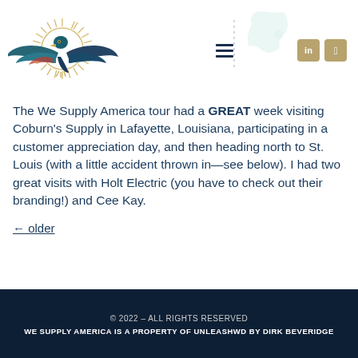[Figure (logo): We Supply America eagle logo — a colorful eagle with spread wings and a golden sunburst halo, in teal, dark blue, and red tones]
[Figure (infographic): Decorative US map silhouette outline in light teal, partially visible in upper right of header]
The We Supply America tour had a GREAT week visiting Coburn's Supply in Lafayette, Louisiana, participating in a customer appreciation day, and then heading north to St. Louis (with a little accident thrown in—see below). I had two great visits with Holt Electric (you have to check out their branding!) and Cee Kay.
← older
© 2022 – ALL RIGHTS RESERVED
WE SUPPLY AMERICA IS A PROPERTY OF UNLEASHWD BY DIRK BEVERIDGE